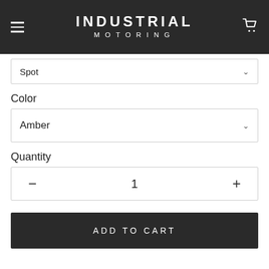INDUSTRIAL MOTORING
Spot
Color
Amber
Quantity
- 1 +
ADD TO CART